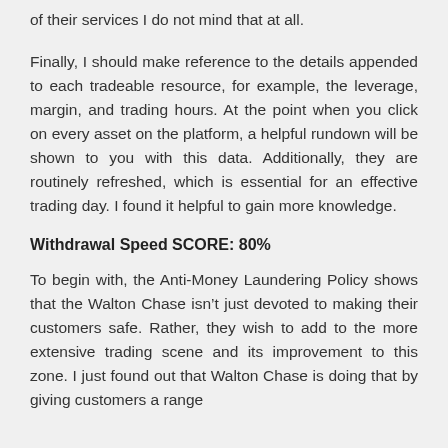of their services I do not mind that at all.
Finally, I should make reference to the details appended to each tradeable resource, for example, the leverage, margin, and trading hours. At the point when you click on every asset on the platform, a helpful rundown will be shown to you with this data. Additionally, they are routinely refreshed, which is essential for an effective trading day. I found it helpful to gain more knowledge.
Withdrawal Speed SCORE: 80%
To begin with, the Anti-Money Laundering Policy shows that the Walton Chase isn't just devoted to making their customers safe. Rather, they wish to add to the more extensive trading scene and its improvement to this zone. I just found out that Walton Chase is doing that by giving customers a range